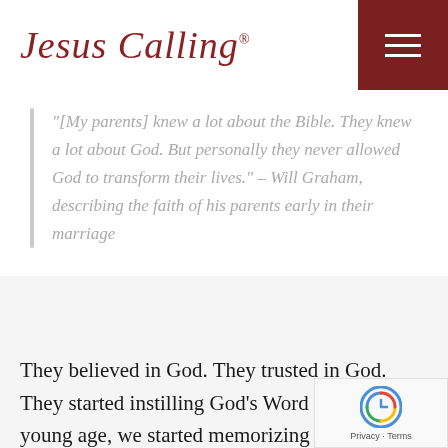Jesus Calling®
"[My parents] knew a lot about the Bible. They knew a lot about God. But personally they never allowed God to transform their lives." – Will Graham, describing the faith of his parents early in their marriage
They believed in God. They trusted in God. They started instilling God's Word into us. At a young age, we started memorizing scripture, we were having Bible studies at night, reading the Bible together. And I'm